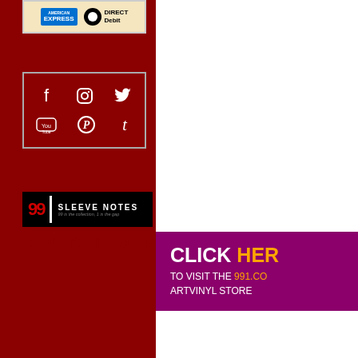[Figure (logo): Payment methods box showing American Express and Direct Debit logos on cream/beige background]
[Figure (infographic): Dark red box with social media icons: Facebook, Instagram, Twitter, YouTube, Pinterest, Tumblr in white]
[Figure (logo): 99 Sleeve Notes logo on black background - 99 in red, vertical white bar, SLEEVE NOTES in white text, tagline in grey]
CYCLOPS
[Figure (infographic): Dark magenta/purple banner reading CLICK HERE TO VISIT THE 991.COM ARTVINYL STORE with HERE and 991.CO in orange]